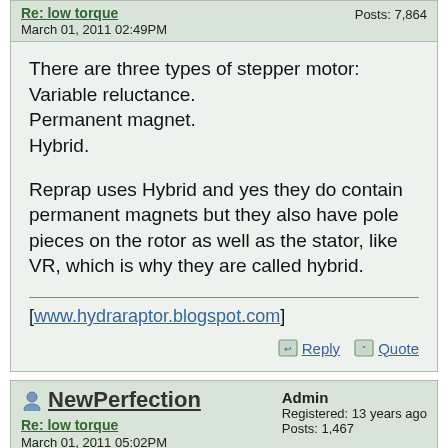Re: low torque | March 01, 2011 02:49PM | Posts: 7,864
There are three types of stepper motor:
Variable reluctance.
Permanent magnet.
Hybrid.

Reprap uses Hybrid and yes they do contain permanent magnets but they also have pole pieces on the rotor as well as the stator, like VR, which is why they are called hybrid.
[www.hydraraptor.blogspot.com]
NewPerfection | Admin | Registered: 13 years ago | Posts: 1,467 | Re: low torque | March 01, 2011 05:02PM
nophead Wrote:
------------------------------------------------------------